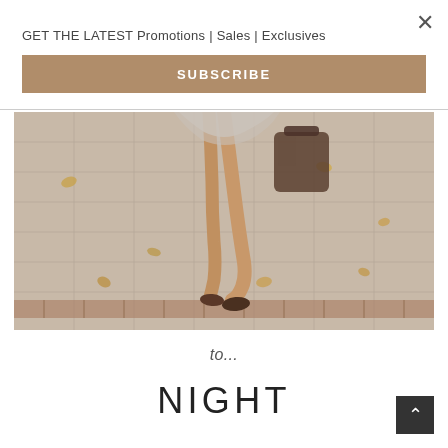GET THE LATEST Promotions | Sales | Exclusives
SUBSCRIBE
[Figure (photo): Photo showing legs of a woman walking on a tiled sidewalk, wearing dark shoes and carrying a handbag, with a flowing dress/skirt. Autumn leaves are visible on the paving tiles. Warm beige/tan tones.]
to...
NIGHT